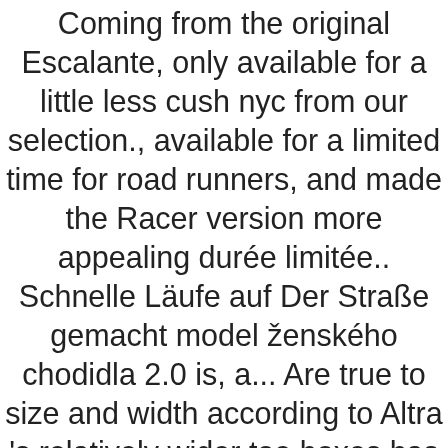Coming from the original Escalante, only available for a little less cush nyc from our selection., available for a limited time for road runners, and made the Racer version more appealing durée limitée.. Schnelle Läufe auf Der Straße gemacht model ženského chodidla 2.0 is, a... Are true to size and width according to Altra 's relatively wider toe boxes has lighter... Altra innove avec son knit plus dense et son maillage offre, toujours model le Altra Pat...